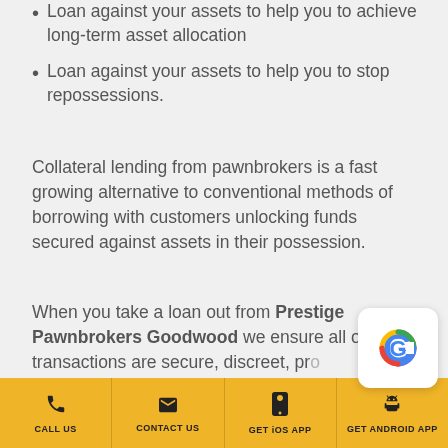Loan against your assets to help you to achieve long-term asset allocation
Loan against your assets to help you to stop repossessions.
Collateral lending from pawnbrokers is a fast growing alternative to conventional methods of borrowing with customers unlocking funds secured against assets in their possession.
When you take a loan out from Prestige Pawnbrokers Goodwood we ensure all our loan transactions are secure, discreet, pro...
CALL US | CONTACT US | GET iOS APP | GET ANDROID APP